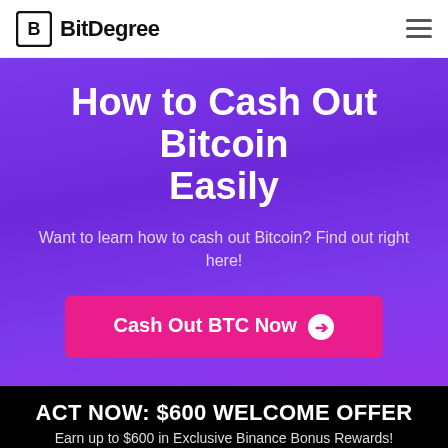BitDegree
How to Cash Out Bitcoin Easily
Want to learn how to cash out Bitcoin? Find out right here!
Cash Out BTC Now →
ACT NOW: $600 WELCOME OFFER
Earn up to $600 in Exclusive Binance Bonus Rewards!
0 DAYS   21 HOURS   25 MINUTES   20 SECONDS
GET DEAL